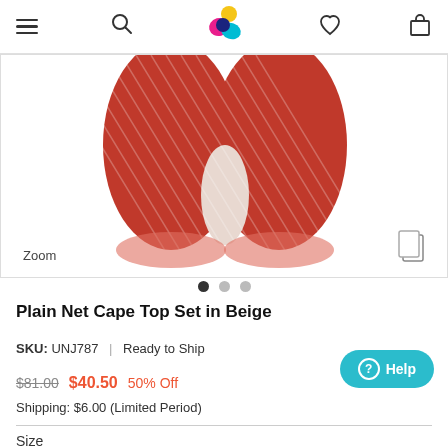Navigation header with hamburger menu, search, logo, heart/wishlist, and bag/cart icons
[Figure (photo): Product photo of a Plain Net Cape Top Set in Beige, showing orange/red fabric with diagonal white stripe pattern. Zoom label at bottom left, image gallery icon at bottom right.]
Zoom
[Figure (infographic): Carousel dots: three circles, first filled dark (active), second and third grey]
Plain Net Cape Top Set in Beige
SKU: UNJ787  |  Ready to Ship
$81.00  $40.50  50% Off
Shipping: $6.00 (Limited Period)
Size